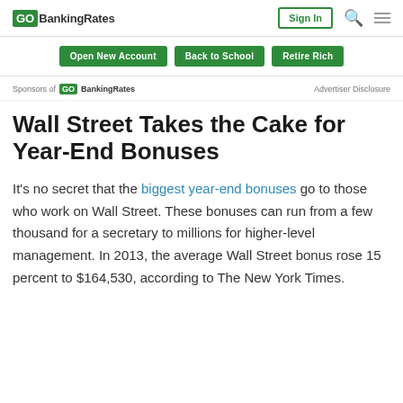GO BankingRates | Sign In | Search | Menu
Open New Account | Back to School | Retire Rich
Sponsors of GO BankingRates | Advertiser Disclosure
Wall Street Takes the Cake for Year-End Bonuses
It’s no secret that the biggest year-end bonuses go to those who work on Wall Street. These bonuses can run from a few thousand for a secretary to millions for higher-level management. In 2013, the average Wall Street bonus rose 15 percent to $164,530, according to The New York Times.